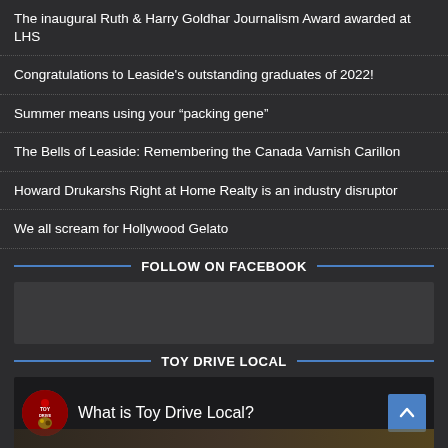The inaugural Ruth & Harry Goldhar Journalism Award awarded at LHS
Congratulations to Leaside's outstanding graduates of 2022!
Summer means using your “packing gene”
The Bells of Leaside: Remembering the Canada Varnish Carillon
Howard Drukarshs Right at Home Realty is an industry disruptor
We all scream for Hollywood Gelato
FOLLOW ON FACEBOOK
[Figure (other): Facebook embed placeholder box]
TOY DRIVE LOCAL
[Figure (other): Toy Drive Local video embed showing logo and title 'What is Toy Drive Local?' with scroll-to-top button]